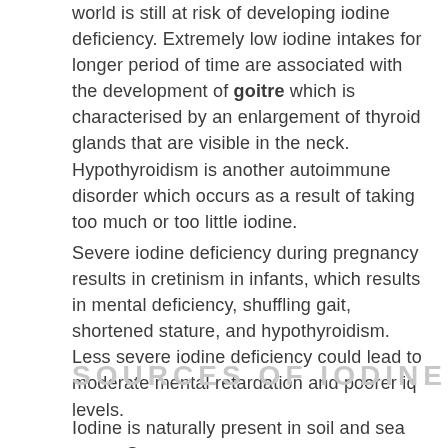world is still at risk of developing iodine deficiency. Extremely low iodine intakes for longer period of time are associated with the development of goitre which is characterised by an enlargement of thyroid glands that are visible in the neck. Hypothyroidism is another autoimmune disorder which occurs as a result of taking too much or too little iodine.
Severe iodine deficiency during pregnancy results in cretinism in infants, which results in mental deficiency, shuffling gait, shortened stature, and hypothyroidism. Less severe iodine deficiency could lead to moderate mental retardation and poorer iq levels.
SOURCES OF IODINE
Iodine is naturally present in soil and sea water. Sea